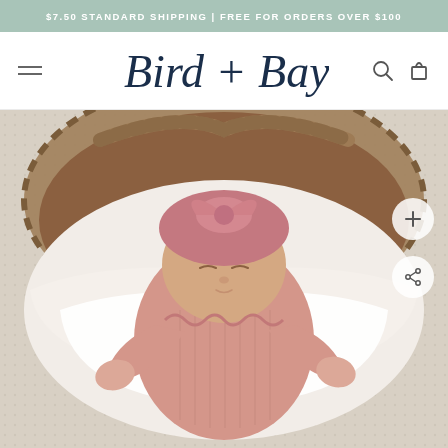$7.50 STANDARD SHIPPING | FREE FOR ORDERS OVER $100
Bird + Bay
[Figure (photo): Newborn baby sleeping in a wicker basket, wearing a pink ribbed onesie and a pink bow headband, lying on white blankets. Two circular action buttons (plus and share) are overlaid on the right side of the image.]